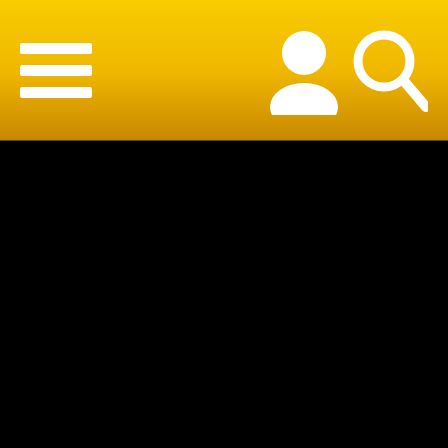[Figure (screenshot): Mobile website navigation bar with yellow/gold gradient background, hamburger menu icon on left (three white horizontal bars), user profile icon and search/magnifying glass icon on right]
[Figure (screenshot): Black video thumbnail with text overlay: 'Laura Fatalle - Extreme Public Risky Pissing Compilation June 2017 - Laura Fa']
[Figure (screenshot): Second black video thumbnail, content not visible]